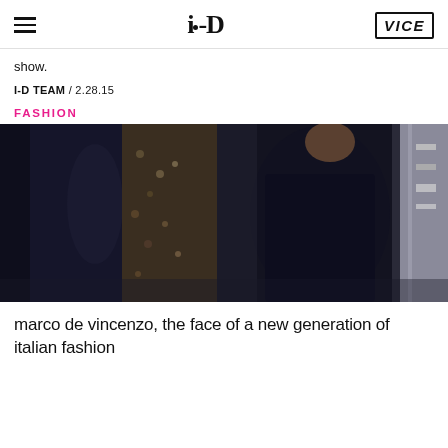i-D / VICE
show.
I-D TEAM / 2.28.15
FASHION
[Figure (photo): Two people standing in what appears to be a fashion studio or showroom. One person on the left is wearing a dark top, and a person on the right is wearing a black t-shirt. Clothing racks are visible in the background.]
marco de vincenzo, the face of a new generation of italian fashion